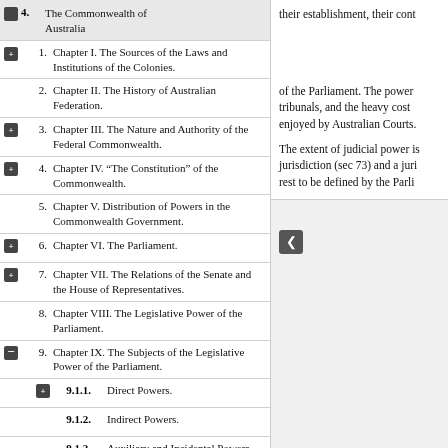4. The Commonwealth of Australia
1. Chapter I. The Sources of the Laws and Institutions of the Colonies.
2. Chapter II. The History of Australian Federation.
3. Chapter III. The Nature and Authority of the Federal Commonwealth.
4. Chapter IV. "The Constitution" of the Commonwealth.
5. Chapter V. Distribution of Powers in the Commonwealth Government.
6. Chapter VI. The Parliament.
7. Chapter VII. The Relations of the Senate and the House of Representatives.
8. Chapter VIII. The Legislative Power of the Parliament.
9. Chapter IX. The Subjects of the Legislative Power of the Parliament.
9.1.1. Direct Powers.
9.1.2. Indirect Powers.
9.1.3. Auxiliary and Incidental Powers.
9.1.4. The Exclusive Power of the
of the Parliament. The power tribunals, and the heavy cost enjoyed by Australian Courts.
The extent of judicial power is jurisdiction (sec 73) and a juri rest to be defined by the Parli